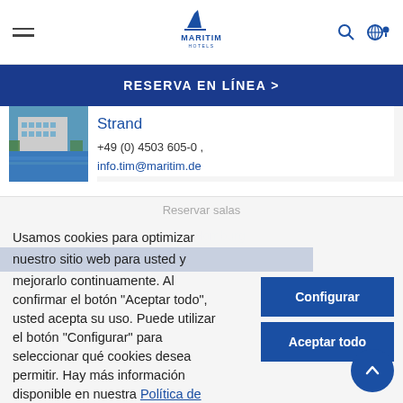Maritim Hotels — navigation bar with hamburger menu, logo, search and language icons
RESERVA EN LÍNEA >
[Figure (photo): Hotel building photo with sea/beach in foreground]
Strand
+49 (0) 4503 605-0 , info.tim@maritim.de
Reservar salas
Usamos cookies para optimizar nuestro sitio web para usted y mejorarlo continuamente. Al confirmar el botón "Aceptar todo", usted acepta su uso. Puede utilizar el botón "Configurar" para seleccionar qué cookies desea permitir. Hay más información disponible en nuestra Política de privacidad.
Configurar
Aceptar todo